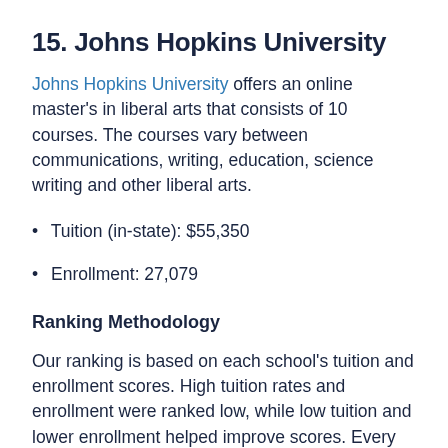15. Johns Hopkins University
Johns Hopkins University offers an online master's in liberal arts that consists of 10 courses. The courses vary between communications, writing, education, science writing and other liberal arts.
Tuition (in-state): $55,350
Enrollment: 27,079
Ranking Methodology
Our ranking is based on each school's tuition and enrollment scores. High tuition rates and enrollment were ranked low, while low tuition and lower enrollment helped improve scores. Every effort was